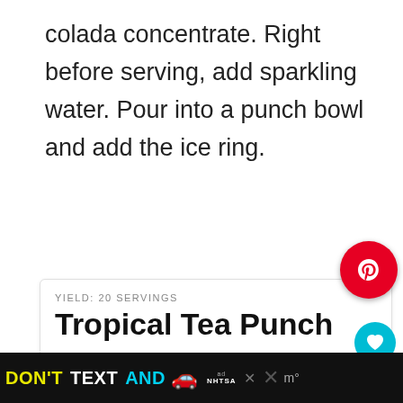colada concentrate. Right before serving, add sparkling water. Pour into a punch bowl and add the ice ring.
[Figure (logo): Pinterest circular red button with white P logo]
YIELD: 20 SERVINGS
Tropical Tea Punch
[Figure (logo): Teal heart/favorite button]
138
Tropical Tea Punch is a pretty pink punch with a delicious tropical taste. This is the perfect summertime punch.
[Figure (photo): Aerial view of a pink tropical punch bowl with ice ring and cherries]
WHAT'S NEXT → Sheet Pan Pecan Pie F...
[Figure (infographic): DON'T TEXT AND DRIVE advertisement banner with car emoji and NHTSA logo]